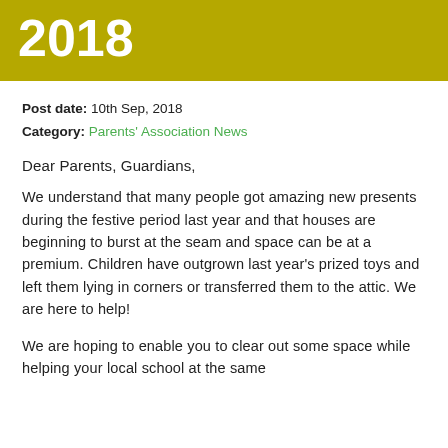2018
Post date:  10th Sep, 2018
Category:  Parents' Association News
Dear Parents, Guardians,
We understand that many people got amazing new presents during the festive period last year and that houses are beginning to burst at the seam and space can be at a premium. Children have outgrown last year's prized toys and left them lying in corners or transferred them to the attic. We are here to help!
We are hoping to enable you to clear out some space while helping your local school at the same